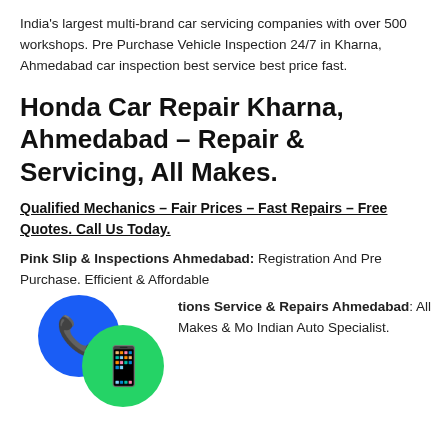India's largest multi-brand car servicing companies with over 500 workshops. Pre Purchase Vehicle Inspection 24/7 in Kharna, Ahmedabad car inspection best service best price fast.
Honda Car Repair Kharna, Ahmedabad – Repair & Servicing, All Makes.
Qualified Mechanics – Fair Prices – Fast Repairs – Free Quotes. Call Us Today.
Pink Slip & Inspections Ahmedabad: Registration And Pre Purchase. Efficient & Affordable
tions Service & Repairs Ahmedabad: All Makes & Mo Indian Auto Specialist.
[Figure (illustration): Blue circular phone icon and green circular WhatsApp icon overlapping in bottom-left corner]